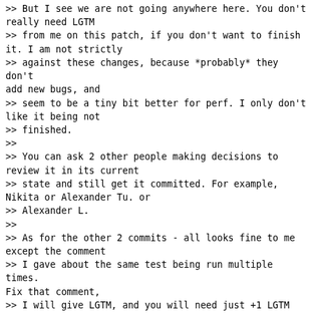>> But I see we are not going anywhere here. You don't really need LGTM
>> from me on this patch, if you don't want to finish it. I am not strictly
>> against these changes, because *probably* they don't add new bugs, and
>> seem to be a tiny bit better for perf. I only don't like it being not
>> finished.
>>
>> You can ask 2 other people making decisions to review it in its current
>> state and still get it committed. For example, Nikita or Alexander Tu. or
>> Alexander L.
>>
>> As for the other 2 commits - all looks fine to me except the comment
>> I gave about the same test being run multiple times. Fix that comment,
>> I will give LGTM, and you will need just +1 LGTM for the first 2 commits.
>
> I have made v5 which is v3 with cosmetic changes per review - test moved into first commit etc. Can we please move on?

As I said - please, move on to another 2 reviewers, if you don't want
to finish the version with state removed. You are not
blocked on me. You